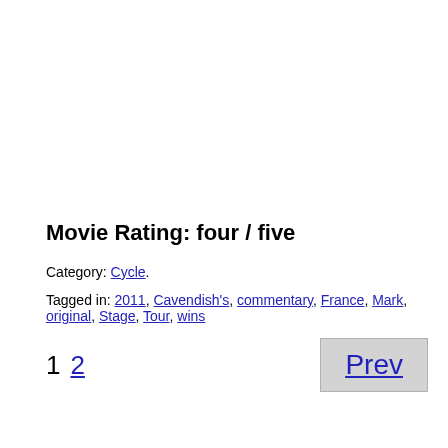Movie Rating: four / five
Category: Cycle.
Tagged in: 2011, Cavendish's, commentary, France, Mark, original, Stage, Tour, wins
1  2  Prev